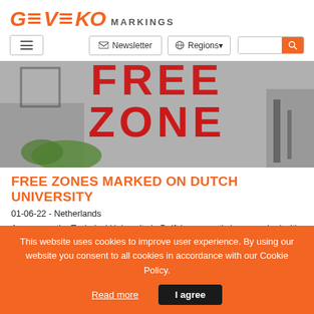[Figure (logo): Geveko Markings logo with orange stylized text and MARKINGS label]
[Figure (screenshot): Navigation bar with hamburger menu, Newsletter button, Regions dropdown, search input and search button]
[Figure (photo): Aerial photo of FREE ZONE markings painted on ground at Technical University in Delft, showing large red letters on a paved surface with surrounding trees and shadows]
FREE ZONES MARKED ON DUTCH UNIVERSITY
01-06-22 - Netherlands
An area on the Technical University in Delft has recently been marked with
This website uses cookies to improve user experience. By using our website you consent to all cookies in accordance with our Cookie Policy.
Read more
I agree